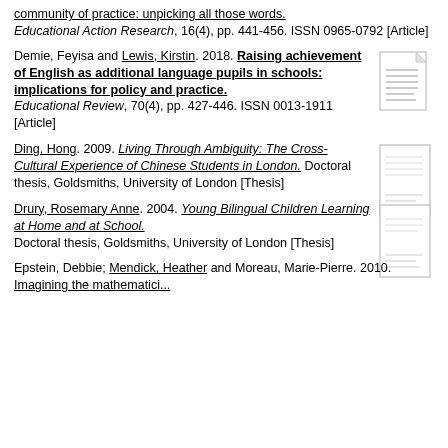community of practice: unpicking all those words. Educational Action Research, 16(4), pp. 441-456. ISSN 0965-0792 [Article]
Demie, Feyisa and Lewis, Kirstin. 2018. Raising achievement of English as additional language pupils in schools: implications for policy and practice. Educational Review, 70(4), pp. 427-446. ISSN 0013-1911 [Article]
[Figure (illustration): Small thumbnail icon of a document/article]
Ding, Hong. 2009. Living Through Ambiguity: The Cross-Cultural Experience of Chinese Students in London. Doctoral thesis, Goldsmiths, University of London [Thesis]
[Figure (illustration): Small thumbnail of a thesis document cover]
Drury, Rosemary Anne. 2004. Young Bilingual Children Learning at Home and at School. Doctoral thesis, Goldsmiths, University of London [Thesis]
[Figure (illustration): Small thumbnail of a thesis document cover]
Epstein, Debbie; Mendick, Heather and Moreau, Marie-Pierre. 2010. Imagining the mathematician: young people and popular images of mathematics...